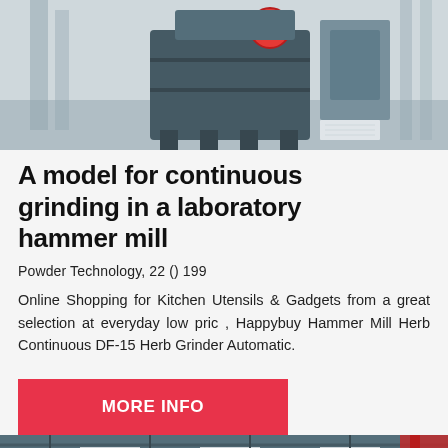[Figure (photo): Industrial hammer mill machine displayed in a showroom with glass walls and light grey flooring. The machine is large and dark-colored with a red circular component visible on top.]
A model for continuous grinding in a laboratory hammer mill
Powder Technology, 22 () 199
Online Shopping for Kitchen Utensils & Gadgets from a great selection at everyday low pric , Happybuy Hammer Mill Herb Continuous DF-15 Herb Grinder Automatic.
[Figure (other): Red button/banner labeled MORE INFO]
[Figure (photo): Interior of an industrial or warehouse space with overhead lighting and red structural elements visible at the far right.]